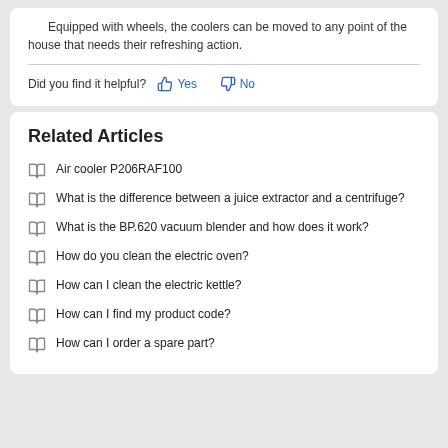Equipped with wheels, the coolers can be moved to any point of the house that needs their refreshing action.
Did you find it helpful? Yes No
Related Articles
Air cooler P206RAF100
What is the difference between a juice extractor and a centrifuge?
What is the BP.620 vacuum blender and how does it work?
How do you clean the electric oven?
How can I clean the electric kettle?
How can I find my product code?
How can I order a spare part?